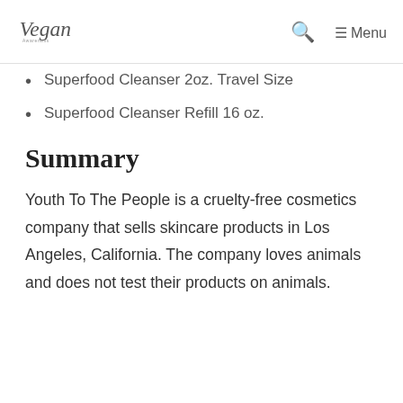Vegan [logo] | Search | Menu
Superfood Cleanser 2oz. Travel Size
Superfood Cleanser Refill 16 oz.
Summary
Youth To The People is a cruelty-free cosmetics company that sells skincare products in Los Angeles, California. The company loves animals and does not test their products on animals.